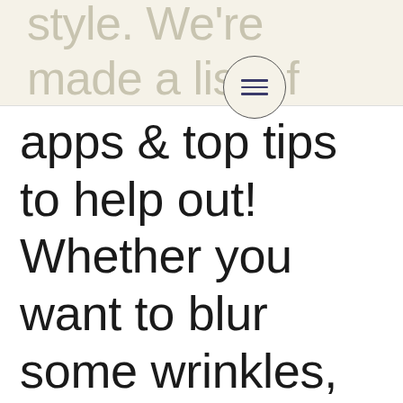style. We're made a list of our favorite
[Figure (other): Circular menu button with three horizontal lines (hamburger icon)]
apps & top tips to help out! Whether you want to blur some wrinkles, apply a cool new filter, or change your eye